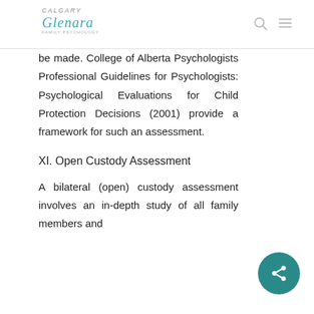Glenara
be made. College of Alberta Psychologists Professional Guidelines for Psychologists: Psychological Evaluations for Child Protection Decisions (2001) provide a framework for such an assessment.
XI. Open Custody Assessment
A bilateral (open) custody assessment involves an in-depth study of all family members and